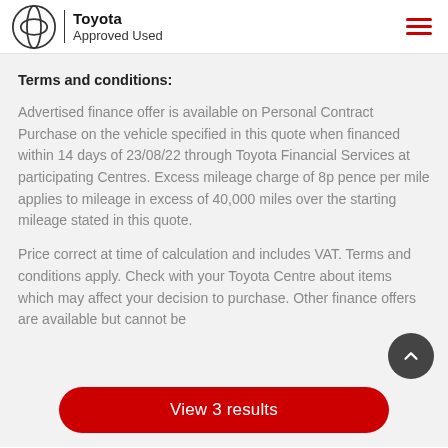Toyota Approved Used
Terms and conditions:
Advertised finance offer is available on Personal Contract Purchase on the vehicle specified in this quote when financed within 14 days of 23/08/22 through Toyota Financial Services at participating Centres. Excess mileage charge of 8p pence per mile applies to mileage in excess of 40,000 miles over the starting mileage stated in this quote.
Price correct at time of calculation and includes VAT. Terms and conditions apply. Check with your Toyota Centre about items which may affect your decision to purchase. Other finance offers are available but cannot be combined with this offer. Deposit contribution where required. Finance subject to status to over 18s only. Subject to availability. Affordable finance on a used A...